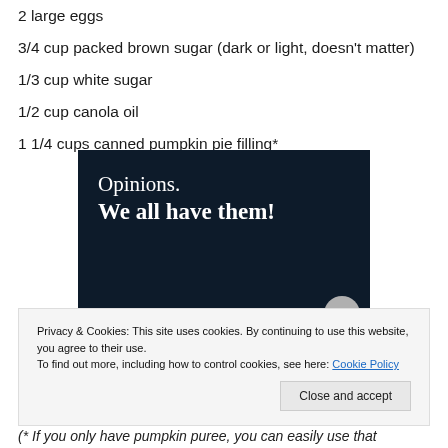2 large eggs
3/4 cup packed brown sugar (dark or light, doesn't matter)
1/3 cup white sugar
1/2 cup canola oil
1 1/4 cups canned pumpkin pie filling*
[Figure (illustration): Dark navy advertisement banner with white serif text reading 'Opinions. We all have them!' with a pink bar and grey circle at the bottom.]
Privacy & Cookies: This site uses cookies. By continuing to use this website, you agree to their use.
To find out more, including how to control cookies, see here: Cookie Policy
Close and accept
(* If you only have pumpkin puree, you can easily use that